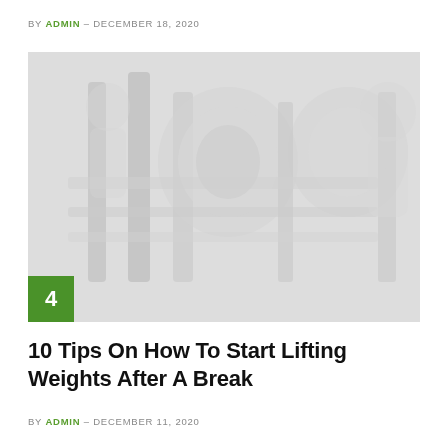BY ADMIN - DECEMBER 18, 2020
[Figure (photo): A close-up photo of gym dumbbells/weights on a rack, washed out with a very light overlay. A green badge with the number 4 sits in the bottom-left corner of the image.]
10 Tips On How To Start Lifting Weights After A Break
BY ADMIN - DECEMBER 11, 2020